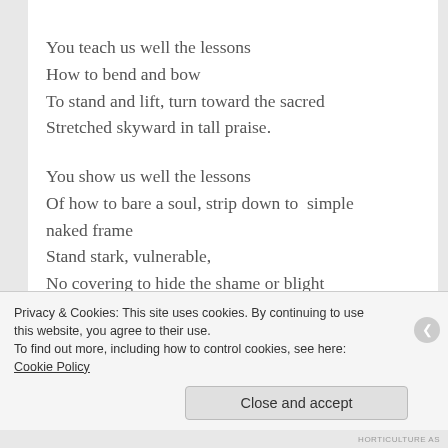You teach us well the lessons
How to bend and bow
To stand and lift, turn toward the sacred
Stretched skyward in tall praise.

You show us well the lessons
Of how to bare a soul, strip down to  simple naked frame
Stand stark, vulnerable,
No covering to hide the shame or blight
Privacy & Cookies: This site uses cookies. By continuing to use this website, you agree to their use.
To find out more, including how to control cookies, see here: Cookie Policy
Close and accept